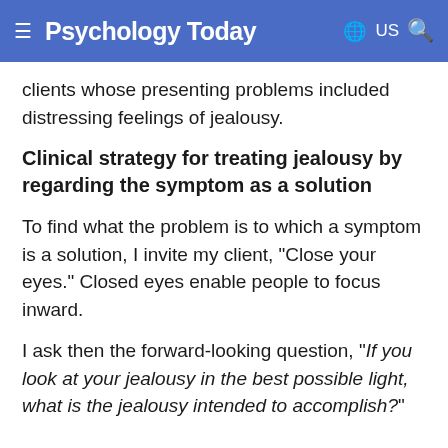Psychology Today
clients whose presenting problems included distressing feelings of jealousy.
Clinical strategy for treating jealousy by regarding the symptom as a solution
To find what the problem is to which a symptom is a solution, I invite my client, "Close your eyes." Closed eyes enable people to focus inward.
I ask then the forward-looking question, "If you look at your jealousy in the best possible light, what is the jealousy intended to accomplish?"